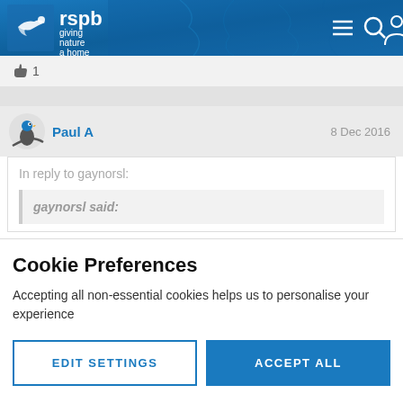[Figure (logo): RSPB logo with bird silhouette and text 'rspb giving nature a home', navigation icons (hamburger menu, search, user) on blue textured header]
👍 1
Paul A
8 Dec 2016
In reply to gaynorsl:
gaynorsl said:
Cookie Preferences
Accepting all non-essential cookies helps us to personalise your experience
EDIT SETTINGS
ACCEPT ALL